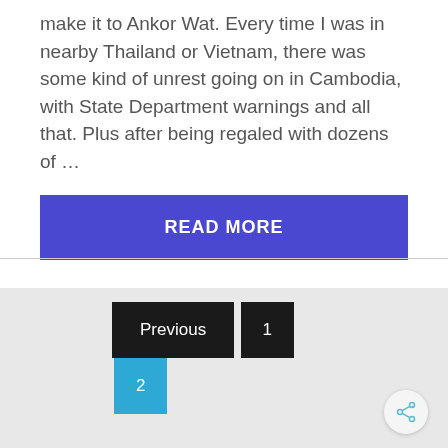make it to Ankor Wat. Every time I was in nearby Thailand or Vietnam, there was some kind of unrest going on in Cambodia, with State Department warnings and all that. Plus after being regaled with dozens of …
READ MORE
Previous  1  2